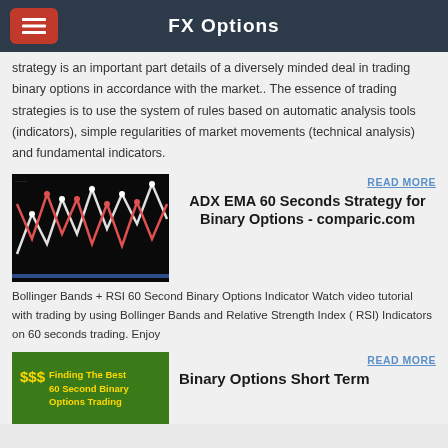FX Options
strategy is an important part details of a diversely minded deal in trading binary options in accordance with the market.. The essence of trading strategies is to use the system of rules based on automatic analysis tools (indicators), simple regularities of market movements (technical analysis) and fundamental indicators.
[Figure (screenshot): Trading chart with zigzag red and white lines on black background showing binary options price movements]
READ MORE
ADX EMA 60 Seconds Strategy for Binary Options - comparic.com
Bollinger Bands + RSI 60 Second Binary Options Indicator Watch video tutorial with trading by using Bollinger Bands and Relative Strength Index ( RSI) Indicators on 60 seconds trading. Enjoy
[Figure (screenshot): Green background image with yellow text: Finding The Best 60 Second Binary Options Trading...]
READ MORE
Binary Options Short Term